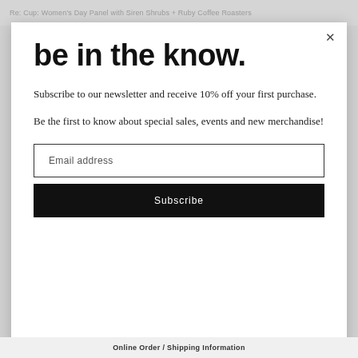Re: Cup: Women's Day Panel with Siren Shrubs + Ruby Coffee Roasters
be in the know.
Subscribe to our newsletter and receive 10% off your first purchase.
Be the first to know about special sales, events and new merchandise!
Email address
Subscribe
Online Order / Shipping Information